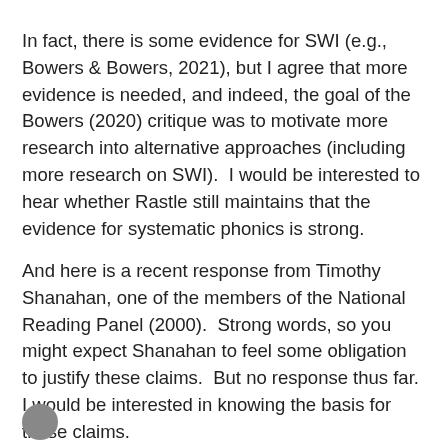In fact, there is some evidence for SWI (e.g., Bowers & Bowers, 2021), but I agree that more evidence is needed, and indeed, the goal of the Bowers (2020) critique was to motivate more research into alternative approaches (including more research on SWI).  I would be interested to hear whether Rastle still maintains that the evidence for systematic phonics is strong.
And here is a recent response from Timothy Shanahan, one of the members of the National Reading Panel (2000).  Strong words, so you might expect Shanahan to feel some obligation to justify these claims.  But no response thus far.  I would be interested in knowing the basis for these claims.